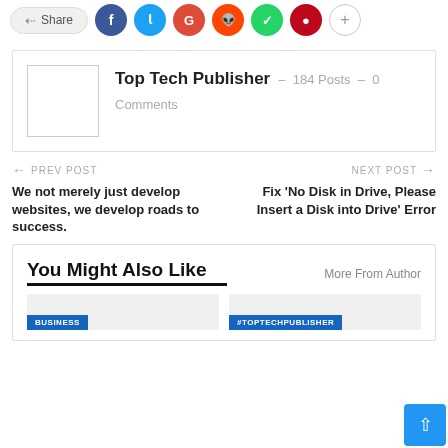[Figure (infographic): Share bar with social icons: Share button, Facebook, Twitter, Google+, Reddit, WhatsApp, Pinterest, and More (+) button]
Top Tech Publisher  −  184 Posts  −  0 Comments
← PREV POST
We not merely just develop websites, we develop roads to success.
NEXT POST →
Fix 'No Disk in Drive, Please Insert a Disk into Drive' Error
You Might Also Like
More From Author
BUSINESS
#TOPTECHPUBLISHER